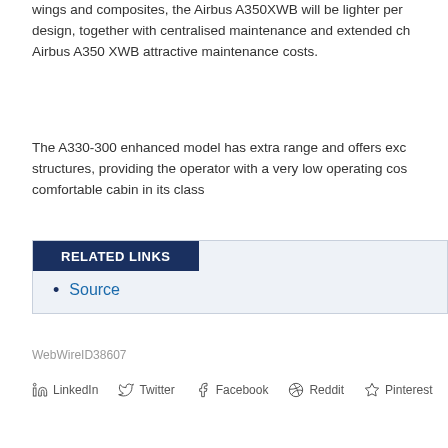With up to 25 per cent of weight saving using the most advanced wings and composites, the Airbus A350XWB will be lighter per design, together with centralised maintenance and extended ch Airbus A350 XWB attractive maintenance costs.
The A330-300 enhanced model has extra range and offers exc structures, providing the operator with a very low operating cos comfortable cabin in its class
RELATED LINKS
Source
WebWireID38607
LinkedIn  Twitter  Facebook  Reddit  Pinterest